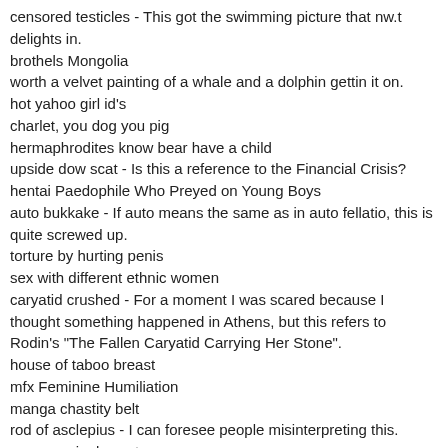censored testicles - This got the swimming picture that nw.t delights in.
brothels Mongolia
worth a velvet painting of a whale and a dolphin gettin it on.
hot yahoo girl id's
charlet, you dog you pig
hermaphrodites know bear have a child
upside dow scat - Is this a reference to the Financial Crisis?
hentai Paedophile Who Preyed on Young Boys
auto bukkake - If auto means the same as in auto fellatio, this is quite screwed up.
torture by hurting penis
sex with different ethnic women
caryatid crushed - For a moment I was scared because I thought something happened in Athens, but this refers to Rodin's "The Fallen Caryatid Carrying Her Stone".
house of taboo breast
mfx Feminine Humiliation
manga chastity belt
rod of asclepius - I can foresee people misinterpreting this.
women urinals poster
hostel "shower room" - This got Dachau.